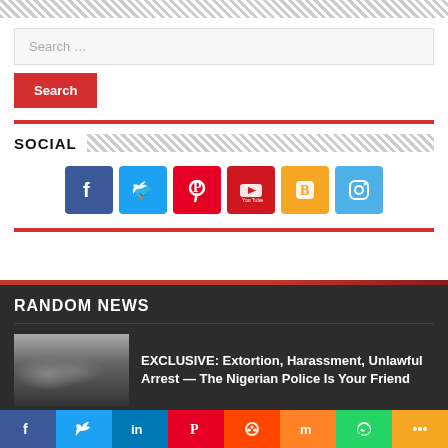[Figure (screenshot): Hatched diagonal pattern top bar]
Search …
Search
SOCIAL
[Figure (infographic): Social media icons: Facebook (blue), Twitter (light blue), Pinterest (red), YouTube (red), Blogger (orange), Instagram (light blue)]
RANDOM NEWS
[Figure (photo): Thumbnail image of police officers with weapons]
EXCLUSIVE: Extortion, Harassment, Unlawful Arrest — The Nigerian Police Is Your Friend
[Figure (infographic): Social share bar with Facebook, Twitter, LinkedIn, Pinterest, Reddit, Mix, WhatsApp, More buttons]